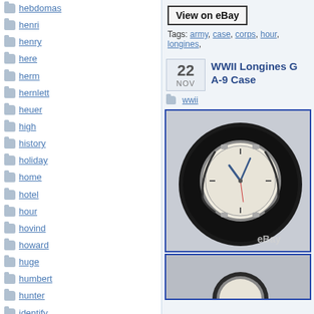hebdomas
henri
henry
here
herm
hernlett
heuer
high
history
holiday
home
hotel
hour
hovind
howard
huge
humbert
hunter
identify
illinois
illino...
View on eBay
Tags: army, case, corps, hour, longines,
WWII Longines G A-9 Case
22 NOV
wwii
[Figure (photo): WWII Longines watch in a black A-9 military case, displayed open with the watch face showing, with an eBay watermark in the bottom right corner.]
[Figure (photo): Partial view of a watch, bottom of page cutoff.]